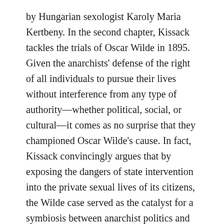by Hungarian sexologist Karoly Maria Kertbeny. In the second chapter, Kissack tackles the trials of Oscar Wilde in 1895. Given the anarchists' defense of the right of all individuals to pursue their lives without interference from any type of authority—whether political, social, or cultural—it comes as no surprise that they championed Oscar Wilde's cause. In fact, Kissack convincingly argues that by exposing the dangers of state intervention into the private sexual lives of its citizens, the Wilde case served as the catalyst for a symbiosis between anarchist politics and gay rights. During his travails, the anarchists helped Wilde by publishing his works and writing tracts in his defense. The role of Benjamin Tucker was nothing short of heroic. For instance, he